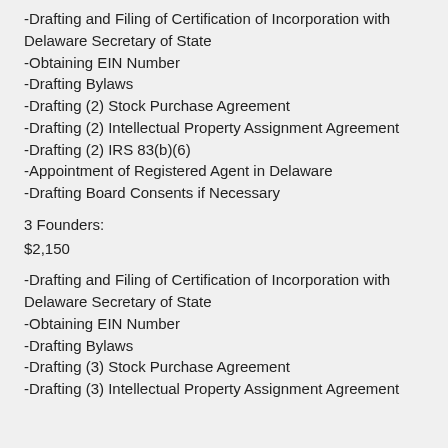-Drafting and Filing of Certification of Incorporation with Delaware Secretary of State
-Obtaining EIN Number
-Drafting Bylaws
-Drafting (2) Stock Purchase Agreement
-Drafting (2) Intellectual Property Assignment Agreement
-Drafting (2) IRS 83(b)(6)
-Appointment of Registered Agent in Delaware
-Drafting Board Consents if Necessary
3 Founders:
$2,150
-Drafting and Filing of Certification of Incorporation with Delaware Secretary of State
-Obtaining EIN Number
-Drafting Bylaws
-Drafting (3) Stock Purchase Agreement
-Drafting (3) Intellectual Property Assignment Agreement